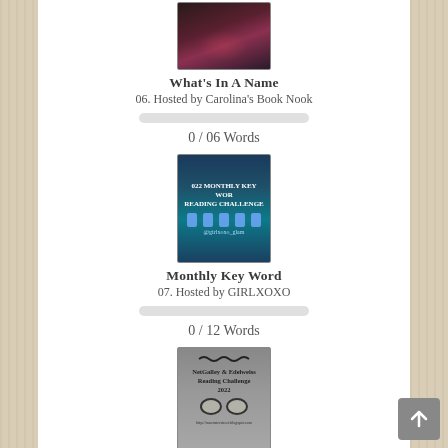[Figure (photo): Book cover image for What's In A Name challenge, dark red and purple tones]
What's In A Name
06. Hosted by Carolina's Book Nook
0 / 06 Words
[Figure (photo): 2022 Monthly Key Word Reading Challenge banner image, teal/blue with decorative lights and book icons]
Monthly Key Word
07. Hosted by GIRLXOXO
0 / 12 Words
[Figure (photo): NetGalley and Edelweiss Reading Challenge 2022 badge with glasses icon on grey background]
NetGalley and Edelweiss